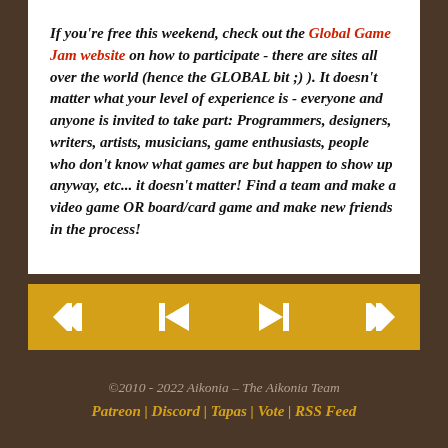If you're free this weekend, check out the Global Game Jam website on how to participate - there are sites all over the world (hence the GLOBAL bit ;) ). It doesn't matter what your level of experience is - everyone and anyone is invited to take part: Programmers, designers, writers, artists, musicians, game enthusiasts, people who don't know what games are but happen to show up anyway, etc... it doesn't matter! Find a team and make a video game OR board/card game and make new friends in the process!
[Figure (other): Navigation bar with four media control buttons: skip-back, previous, next, skip-forward on a golden/yellow background]
©2010 - 2022 Aikonia – The Aikonia Team
Patreon | Discord | Tapas | Vote | RSS Feed